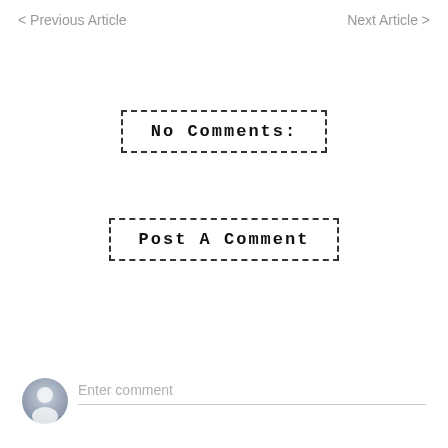< Previous Article    Next Article >
No Comments:
Post A Comment
Enter comment